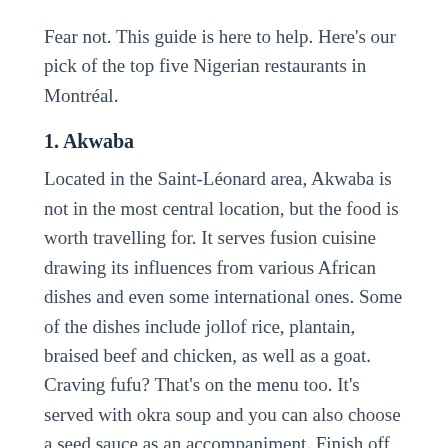Fear not. This guide is here to help. Here's our pick of the top five Nigerian restaurants in Montréal.
1. Akwaba
Located in the Saint-Léonard area, Akwaba is not in the most central location, but the food is worth travelling for. It serves fusion cuisine drawing its influences from various African dishes and even some international ones. Some of the dishes include jollof rice, plantain, braised beef and chicken, as well as a goat. Craving fufu? That's on the menu too. It's served with okra soup and you can also choose a seed sauce as an accompaniment. Finish off with some African donuts drenched in pineapple syrup.